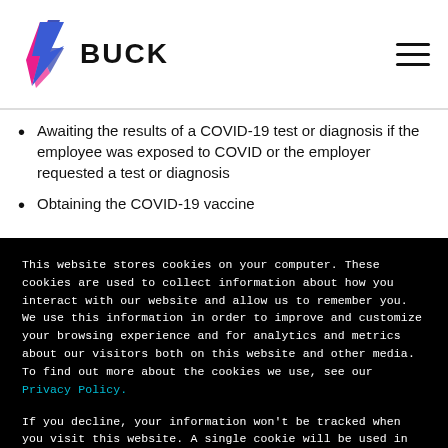[Figure (logo): Buck logo with colorful lightning bolt icon and bold BUCK text]
Awaiting the results of a COVID-19 test or diagnosis if the employee was exposed to COVID or the employer requested a test or diagnosis
Obtaining the COVID-19 vaccine
This website stores cookies on your computer. These cookies are used to collect information about how you interact with our website and allow us to remember you. We use this information in order to improve and customize your browsing experience and for analytics and metrics about our visitors both on this website and other media. To find out more about the cookies we use, see our Privacy Policy.
If you decline, your information won't be tracked when you visit this website. A single cookie will be used in your browser to remember your preference not to be tracked.
Accept    Decline